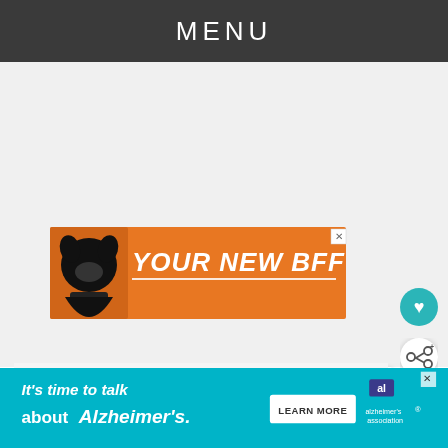MENU
[Figure (illustration): Advertisement banner with orange background featuring a black dog silhouette and text 'YOUR NEW BFF' in white bold italic letters with underline, with a close (X) button in the top right corner]
[Figure (illustration): Teal circular heart/favorite button icon]
[Figure (illustration): White circular share button icon with share symbol]
[Figure (illustration): WHAT'S NEXT card with photo thumbnail and text 'Jennifer Lawrence...']
What are your thoughts on wearing bridal
[Figure (illustration): Bottom advertisement banner with teal/cyan background featuring text 'It's time to talk about Alzheimer's.' with a Learn More button and Alzheimer's Association logo]